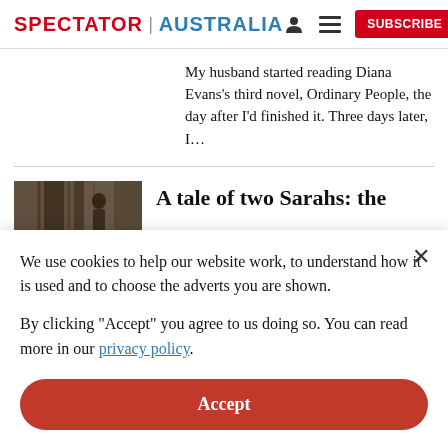SPECTATOR | AUSTRALIA  [user icon] [menu icon] SUBSCRIBE
My husband started reading Diana Evans’s third novel, Ordinary People, the day after I’d finished it. Three days later, I…
A tale of two Sarahs: the
We use cookies to help our website work, to understand how it is used and to choose the adverts you are shown.
By clicking "Accept" you agree to us doing so. You can read more in our privacy policy.
Accept